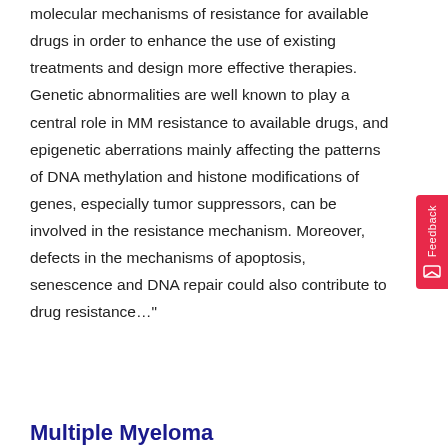molecular mechanisms of resistance for available drugs in order to enhance the use of existing treatments and design more effective therapies. Genetic abnormalities are well known to play a central role in MM resistance to available drugs, and epigenetic aberrations mainly affecting the patterns of DNA methylation and histone modifications of genes, especially tumor suppressors, can be involved in the resistance mechanism. Moreover, defects in the mechanisms of apoptosis, senescence and DNA repair could also contribute to drug resistance…"
Multiple Myeloma